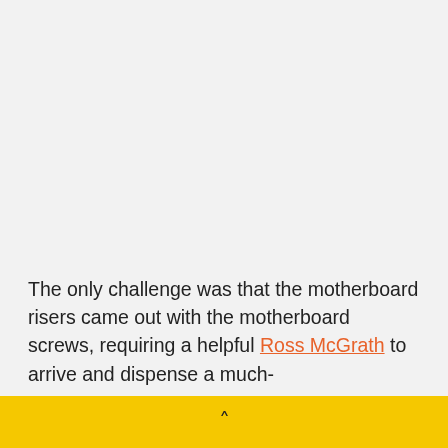The only challenge was that the motherboard risers came out with the motherboard screws, requiring a helpful Ross McGrath to arrive and dispense a much-needed set of needle-nose pliers to sort out this...
▲